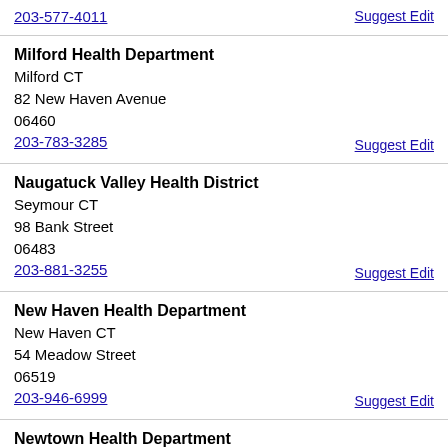203-577-4011
Suggest Edit
Milford Health Department
Milford CT
82 New Haven Avenue
06460
203-783-3285
Suggest Edit
Naugatuck Valley Health District
Seymour CT
98 Bank Street
06483
203-881-3255
Suggest Edit
New Haven Health Department
New Haven CT
54 Meadow Street
06519
203-946-6999
Suggest Edit
Newtown Health Department